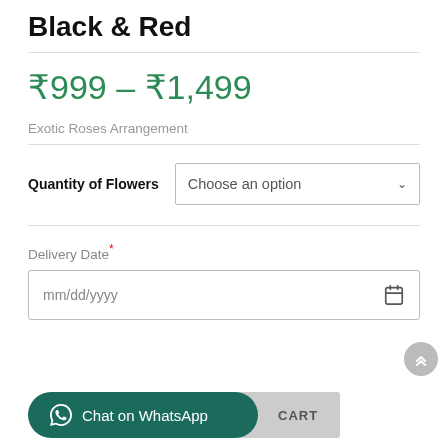Black & Red
₹999 – ₹1,499
Exotic Roses Arrangement
Quantity of Flowers
Choose an option
Delivery Date*
mm/dd/yyyy
Chat on WhatsApp
CART